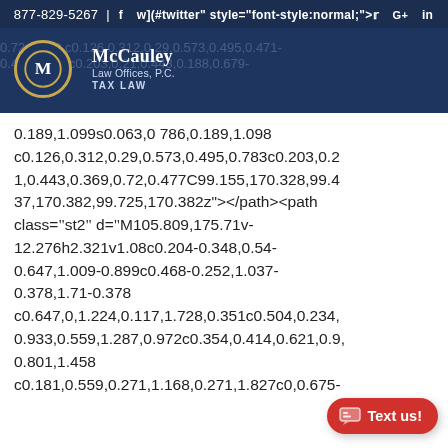877-829-5267 | f  tw  G+  in
[Figure (logo): McCauley Law Offices, P.C. TAX LAW logo with circular M emblem and watermark of SVG path data in background]
0.189,1.099s0.063,0 786,0.189,1.098 c0.126,0.312,0.29,0.573,0.495,0.783c0.203,0.21,0.443,0.369,0.72,0.477C99.155,170.328,99.437,170.382,99.725,170.382z"></path><path class="st2" d="M105.809,175.71v-12.276h2.321v1.08c0.204-0.348,0.54-0.647,1.009-0.899c0.468-0.252,1.037-0.378,1.71-0.378 c0.647,0,1.224,0.117,1.728,0.351c0.504,0.234,0.933,0.559,1.287,0.972c0.354,0.414,0.621,0.9,0.801,1.458 c0.181,0.559,0.271,1.168,0.271,1.827c0,0.675-